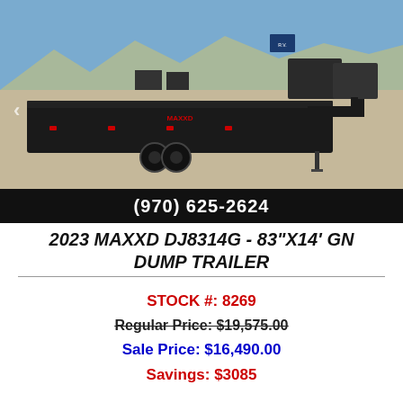[Figure (photo): Black dump trailer (2023 MAXXD DJ8314G) parked in a lot with mountains and blue sky in background. Trailer is large, low-profile with dual rear axles and dark wheels.]
(970) 625-2624
2023 MAXXD DJ8314G - 83"X14' GN DUMP TRAILER
STOCK #: 8269
Regular Price: $19,575.00
Sale Price: $16,490.00
Savings: $3085